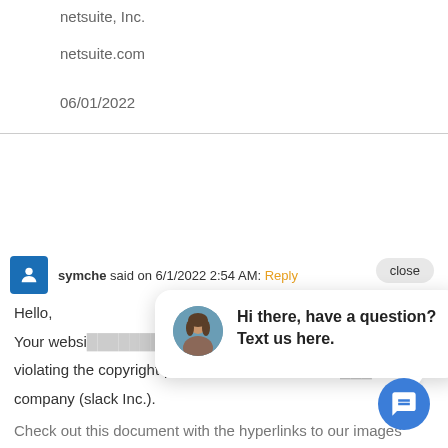netsuite, Inc.
netsuite.com
06/01/2022
symche said on 6/1/2022 2:54 AM: Reply
Hello,
Your website is violating the copyright-protected images owned by our company (slack Inc.).
Check out this document with the hyperlinks to our images
[Figure (screenshot): Chat popup widget showing a female avatar and the message 'Hi there, have a question? Text us here.' with a blue circular chat button below.]